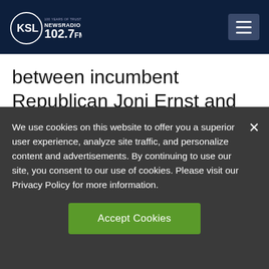KSL NewsRadio 102.7FM
between incumbent Republican Joni Ernst and Democratic challenger Theresa Greenfield.
We use cookies on this website to offer you a superior user experience, analyze site traffic, and personalize content and advertisements. By continuing to use our site, you consent to our use of cookies. Please visit our Privacy Policy for more information.
Accept Cookies